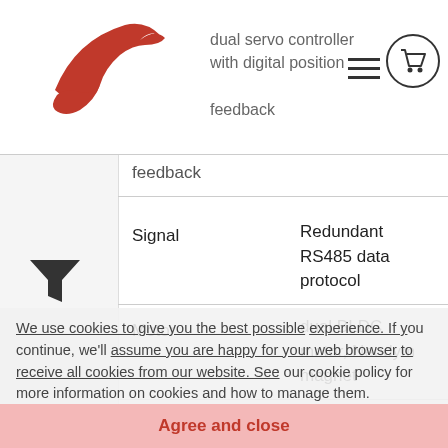PC-Brand dual servo controller with digital position feedback
| Property | Value |
| --- | --- |
|  | dual servo controller with digital position feedback |
| Signal | Redundant RS485 data protocol |
| Motor | dual BLDC motor, Neodym magnet |
| Gear train | hardened steel, spur gear type, 10 ball races or roller bearings with PA-SC overload protection output shaft |
| Case | aluminum, water- and dust protected (IP67), with solid horizontal and |
We use cookies to give you the best possible experience. If you continue, we'll assume you are happy for your web browser to receive all cookies from our website. See our cookie policy for more information on cookies and how to manage them. More info
Agree and close